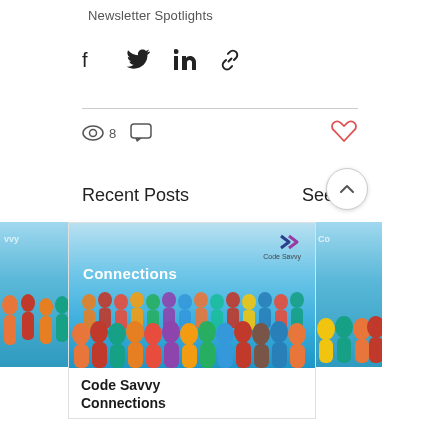Newsletter Spotlights
[Figure (other): Social share buttons row: Facebook, Twitter, LinkedIn, link/chain icon]
8 views, 0 comments, heart/like button
Recent Posts
See All
[Figure (photo): Newsletter card image showing colorful crowd of illustrated people with 'Connections' label and Code Savvy logo on blue background]
Code Savvy Connections